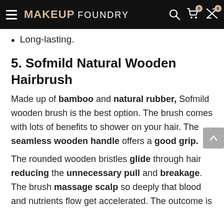MAKEUP FOUNDRY
Long-lasting.
5. Sofmild Natural Wooden Hairbrush
Made up of bamboo and natural rubber, Sofmild wooden brush is the best option. The brush comes with lots of benefits to shower on your hair. The seamless wooden handle offers a good grip.
The rounded wooden bristles glide through hair reducing the unnecessary pull and breakage. The brush massage scalp so deeply that blood and nutrients flow get accelerated. The outcome is